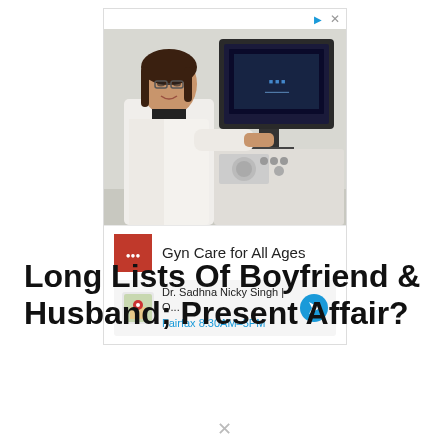[Figure (photo): Advertisement: Medical/gynecology ad showing a smiling female doctor in white coat next to ultrasound equipment. Ad header shows play and close icons. Bottom section shows red brand logo, 'Gyn Care for All Ages' text, and location info for Dr. Sadhna Nicky Singh in Fairfax, 8:30AM-5PM with map and navigation icons.]
Long Lists Of Boyfriend & Husband; Present Affair?